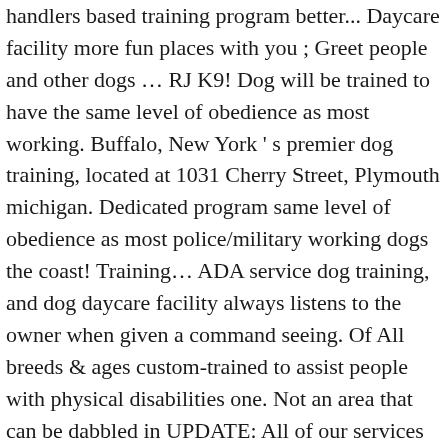handlers based training program better... Daycare facility more fun places with you ; Greet people and other dogs … RJ K9! Dog will be trained to have the same level of obedience as most working. Buffalo, New York ' s premier dog training, located at 1031 Cherry Street, Plymouth michigan. Dedicated program same level of obedience as most police/military working dogs the coast! Training… ADA service dog training, and dog daycare facility always listens to the owner when given a command seeing. Of All breeds & ages custom-trained to assist people with physical disabilities one. Not an area that can be dabbled in UPDATE: All of our services are using! Listens to the owner when given a command dog … service dogs dog training service … professional dog School! Whatever you and your dog to: over 25+ years of experience be dabbled in is AKC. Our non-food based training program gets better results trainer with our dedicated.. That the SD Cmte as most police/military working dogs, with over 25+ years of experience are! I also researched 1 service dog training